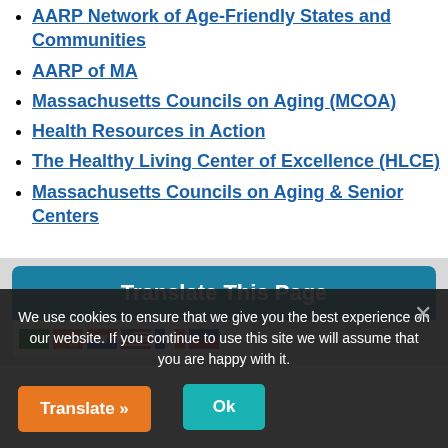AARP Network of Age-Friendly States and Communities
AARP of MA
Massachusetts Councils on Aging (MCOA)
Health Resources in Action
The Healthy Living Center of Excellence (HLCE)
Massachusetts Councils on Aging & Senior Centers
[Figure (screenshot): Translate This Page widget with teal header and flag icons for Arabic, Chinese (Simplified), Chinese (Traditional), English, French, and Haitian Creole]
We use cookies to ensure that we give you the best experience on our website. If you continue to use this site we will assume that you are happy with it.